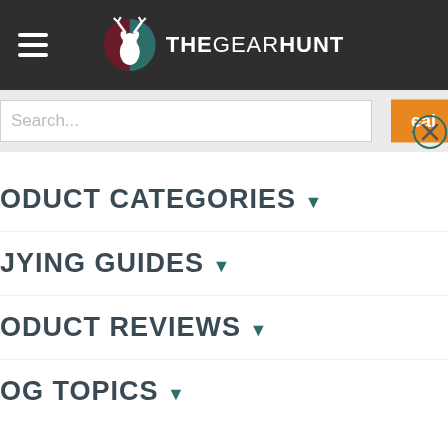THEGEARHUNT
Search...
PRODUCT CATEGORIES
BUYING GUIDES
PRODUCT REVIEWS
BLOG TOPICS